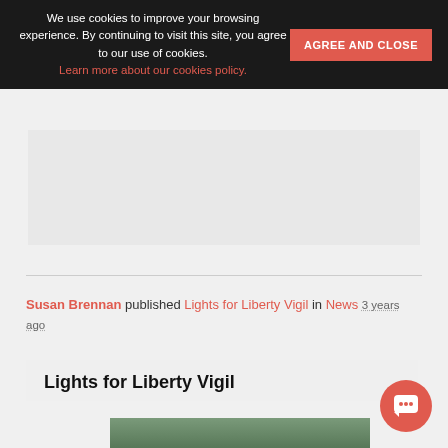We use cookies to improve your browsing experience. By continuing to visit this site, you agree to our use of cookies.
Learn more about our cookies policy.
AGREE AND CLOSE
[Figure (other): Gray advertisement placeholder box]
Susan Brennan published Lights for Liberty Vigil in News 3 years ago
Lights for Liberty Vigil
[Figure (photo): Outdoor group photo at a vigil event, people gathered in front of trees and a building]